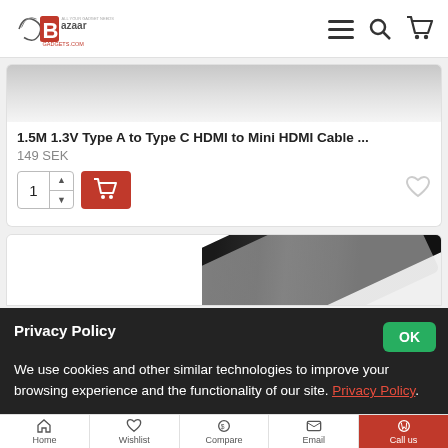Bazaar Gadgets - Navigation header with logo, menu, search, cart icons
[Figure (screenshot): Partial product image (top of HDMI cable product card)]
1.5M 1.3V Type A to Type C HDMI to Mini HDMI Cable ...
149 SEK
[Figure (screenshot): Quantity selector with value 1 and up/down arrows, red add-to-cart button with cart icon, heart/wishlist icon]
[Figure (photo): Partial product image of a black braided HDMI cable]
Privacy Policy
We use cookies and other similar technologies to improve your browsing experience and the functionality of our site. Privacy Policy.
Home  Wishlist  Compare  Email  Call us